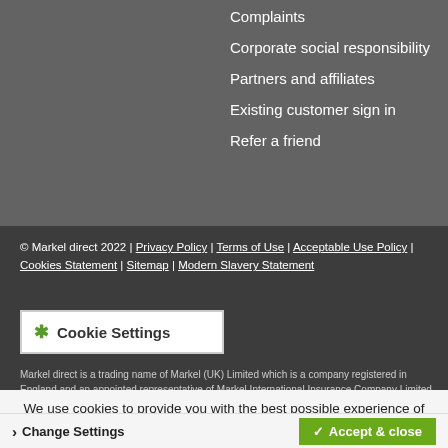Complaints
Corporate social responsibility
Partners and affiliates
Existing customer sign in
Refer a friend
© Markel direct 2022 | Privacy Policy | Terms of Use | Acceptable Use Policy | Cookies Statement | Sitemap | Modern Slavery Statement
Cookie Settings
Markel direct is a trading name of Markel (UK) Limited which is a company registered in England and an appointed representative of Markel International Insurance Company Limited. Markel (UK) Limited only places insurance policies with Markel International Insurance
We use cookies to provide you with the best possible experience of our website. Cookie Policy
Change Settings
Accept & close